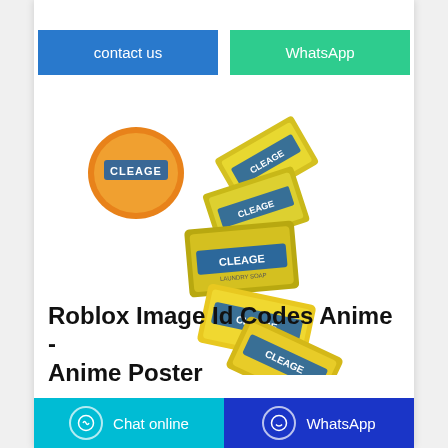[Figure (other): Blue 'contact us' button and green 'WhatsApp' button side by side]
[Figure (photo): Product photo of Cleage detergent soap bars fanned out in a curve with a Cleage logo badge at top left]
Roblox Image Id Codes Anime - Anime Poster
Chat online | WhatsApp